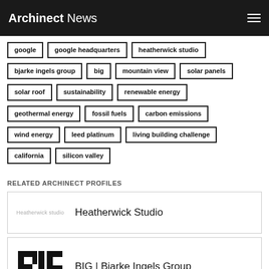Archinect News
google
google headquarters
heatherwick studio
bjarke ingels group
big
mountain view
solar panels
solar roof
sustainability
renewable energy
geothermal energy
fossil fuels
carbon emissions
wind energy
leed platinum
living building challenge
california
silicon valley
RELATED ARCHINECT PROFILES
Heatherwick Studio
BIG | Bjarke Ingels Group